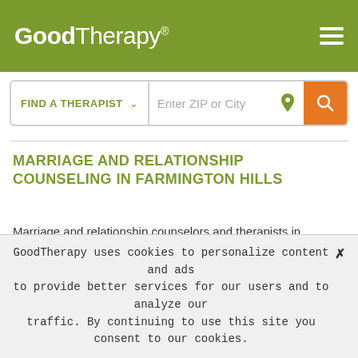GoodTherapy®
[Figure (screenshot): Search bar with 'FIND A THERAPIST' dropdown and 'Enter ZIP or City' input with location pin and orange search button]
MARRIAGE AND RELATIONSHIP COUNSELING IN FARMINGTON HILLS
Marriage and relationship counselors and therapists in Farmington Hills can help address or resolve a variety of issues involving romantic partners. Couples counselors do not take sides and generally don't give advice. Rather, marriage and relationship counselors help partners to
GoodTherapy uses cookies to personalize content and ads to provide better services for our users and to analyze our traffic. By continuing to use this site you consent to our cookies.